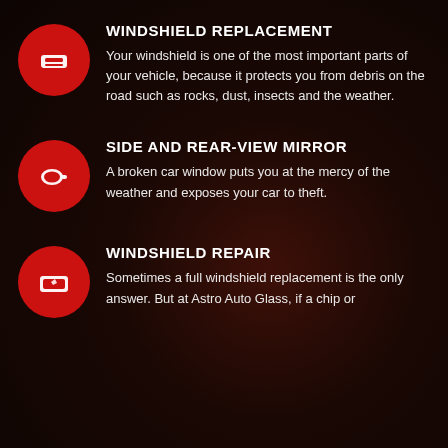[Figure (illustration): Red circle icon with windshield/car front window symbol in white]
WINDSHIELD REPLACEMENT
Your windshield is one of the most important parts of your vehicle, because it protects you from debris on the road such as rocks, dust, insects and the weather.
[Figure (illustration): Red circle icon with side/rear-view mirror symbol in white]
SIDE AND REAR-VIEW MIRROR
A broken car window puts you at the mercy of the weather and exposes your car to theft.
[Figure (illustration): Red circle icon with windshield repair/chip symbol in white]
WINDSHIELD REPAIR
Sometimes a full windshield replacement is the only answer. But at Astro Auto Glass, if a chip or